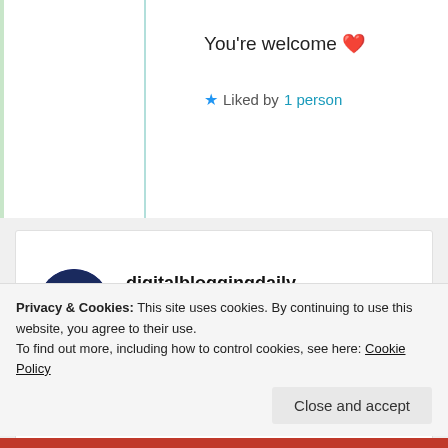You're welcome ❤️
★ Liked by 1 person
digitalbloggingdaily
27th Jun 2021 at 12:41 pm
Great poem 😍😍😍
★ Liked by 2 people
Privacy & Cookies: This site uses cookies. By continuing to use this website, you agree to their use.
To find out more, including how to control cookies, see here: Cookie Policy
Close and accept